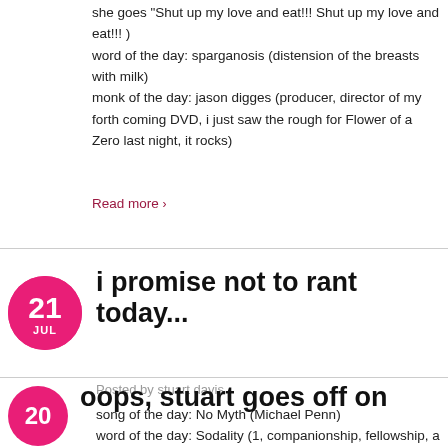she goes "Shut up my love and eat!!! Shut up my love and eat!!! ) word of the day: sparganosis (distension of the breasts with milk) monk of the day: jason digges (producer, director of my forth coming DVD, i just saw the rough for Flower of a Zero last night, it rocks)
Read more ›
i promise not to rant today...
Posted by stuart davis
song of the day: No Myth (Michael Penn) word of the day: Sodality (1, companionship, fellowship, a society, a confraternity, an association 2, a religious guild or brotherhood) monk of the day: Mike Tarrolly (former manager, long time friend, marketing wizard who conceived "The Take-Away" promotion strategy)
Read more ›
oops, stuart goes off on